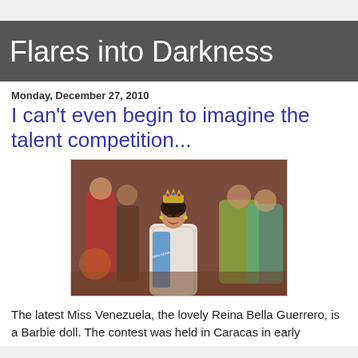Flares into Darkness
Monday, December 27, 2010
I can't even begin to imagine the talent competition...
[Figure (photo): A Barbie doll dressed as Miss Venezuela wearing a crown, sash, and formal gown, with other dolls in the background in a pageant scene]
The latest Miss Venezuela, the lovely Reina Bella Guerrero, is a Barbie doll. The contest was held in Caracas in early